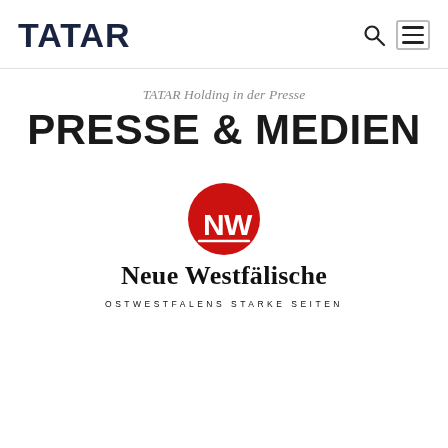TATAR
TATAR Holding in der Presse
PRESSE & MEDIEN
[Figure (logo): Neue Westfälische newspaper logo: red circle with NW letters in white, bold text 'Neue Westfälische' and subtitle 'OSTWESTFALENS STARKE SEITEN']